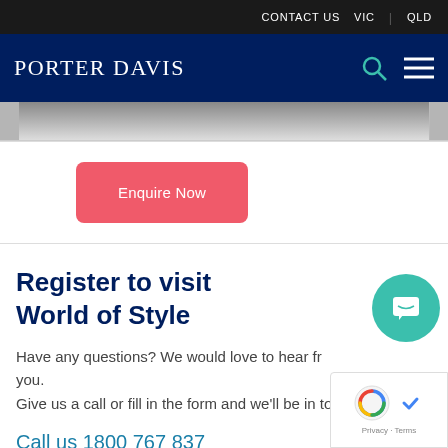CONTACT US  VIC  QLD
PORTER DAVIS
[Figure (photo): Partial image strip showing a dark background photo, cropped at the top navigation area]
Enquire Now
Register to visit World of Style
Have any questions? We would love to hear from you.
Give us a call or fill in the form and we'll be in touch!
Call us 1800 767 837